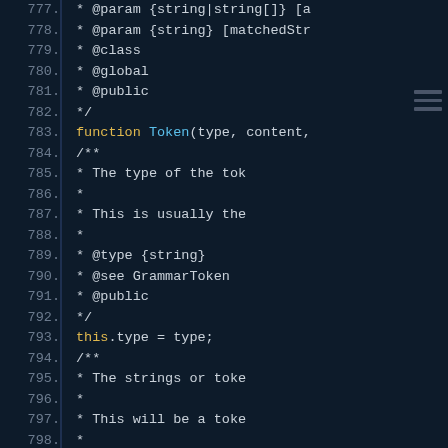[Figure (screenshot): Code editor screenshot showing JavaScript source code lines 777-799 with syntax highlighting on a dark navy background. Line numbers in gray, keywords 'function' and 'this' in yellow, 'Token' in cyan, comments and other code in light gray.]